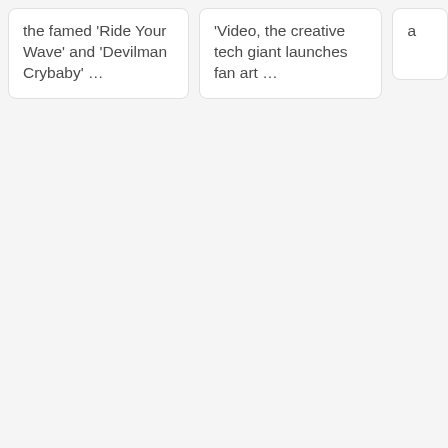the famed 'Ride Your Wave' and 'Devilman Crybaby' …
'Video, the creative tech giant launches fan art …
a…